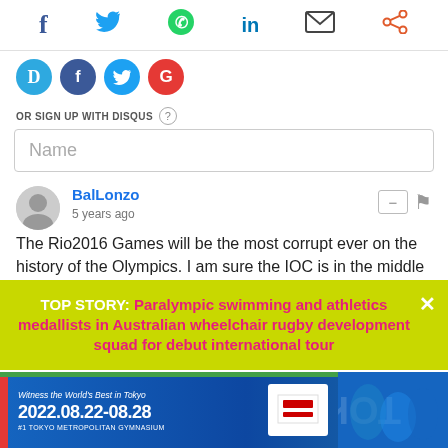[Figure (infographic): Social media share icons: Facebook (f), Twitter bird, WhatsApp, LinkedIn (in), Email envelope, Share icon]
[Figure (infographic): Disqus login bubbles: D (Disqus), F (Facebook), Twitter bird, G (Google)]
OR SIGN UP WITH DISQUS ?
Name
BalLonzo
5 years ago
The Rio2016 Games will be the most corrupt ever on the history of the Olympics. I am sure the IOC is in the middle and right now are avoiding any Brazilians.
TOP STORY: Paralympic swimming and athletics medallists in Australian wheelchair rugby development squad for debut international tour
[Figure (infographic): Tokyo 2022 badminton advertisement banner: 'Witness the World's Best in Tokyo', date 2022.08.22-08.28, #1 Tokyo Metropolitan Gymnasium, players image on right, TOKYO text vertically]